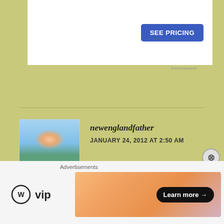[Figure (other): Advertisement banner with white background and blue 'SEE PRICING' button]
newenglandfather
JANUARY 24, 2012 AT 2:50 AM
Every generation poopoo’s the next. It’s natural. As a child of the 80”s I feel the same way.
“Our youth now love luxury. They have bad manners, contempt for authority; they show disrespect for their elders and love chatter in place of exercise;
Advertisements
[Figure (logo): WordPress VIP logo and advertisement banner with 'Learn more' button]